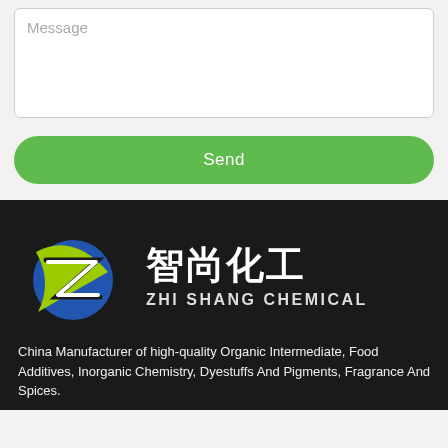Message
[Figure (logo): Send button — green rounded rectangle with white text 'Send']
[Figure (logo): Zhi Shang Chemical logo on dark background with Chinese characters 智尚化工 and English ZHI SHANG CHEMICAL with circular Z emblem in blue and green]
China Manufacturer of high-quality Organic Intermediate, Food Additives, Inorganic Chemistry, Dyestuffs And Pigments, Fragrance And Spices.